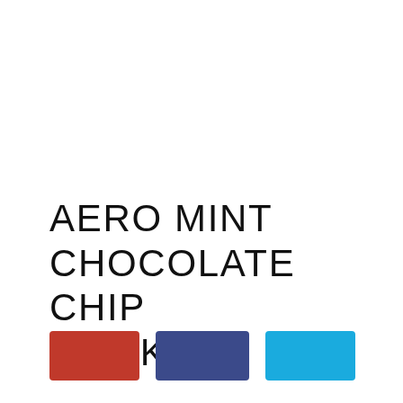AERO MINT CHOCOLATE CHIP COOKIES
[Figure (other): Three colored rectangles side by side: red, dark blue/navy, and sky blue]